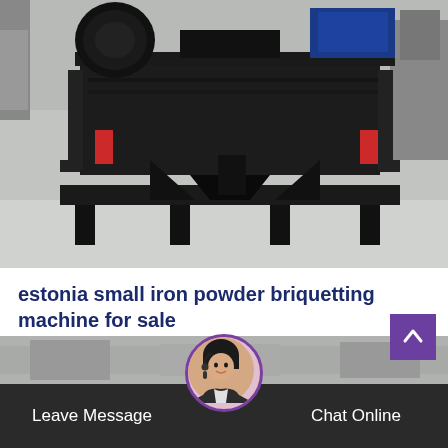[Figure (photo): Industrial iron powder briquetting machine (large black metal press machine with blue motor on top and red accents, sitting on a black metal frame/base in an industrial warehouse setting with light grey concrete floor)]
estonia small iron powder briquetting machine for sale
At August 10, 2015, one customer from Saudi Arabia sent us an inqury about iron powder briquette press machine...
[Figure (photo): Partial view of industrial machinery in background behind footer bar]
Leave Message   Chat Online